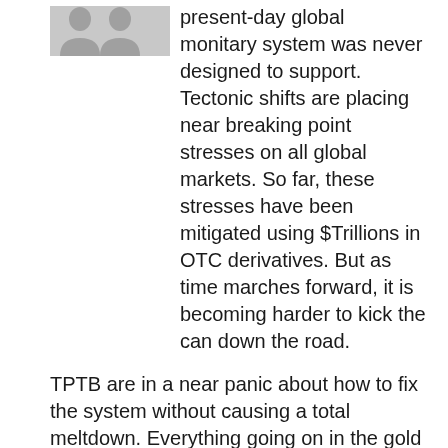present-day global monitary system was never designed to support. Tectonic shifts are placing near breaking point stresses on all global markets. So far, these stresses have been mitigated using $Trillions in OTC derivatives. But as time marches forward, it is becoming harder to kick the can down the road.
TPTB are in a near panic about how to fix the system without causing a total meltdown. Everything going on in the gold market is a result of trying to keep the OTC derivatives from blowing up and sparking the mother of all financial crisis.
Sometimes the only way to clean up such a mess is to cast aside the old promises and the old way of thinking– then start over with: a new slate, a new plan, and a new set of rules.
Can society really afford to perpetually support millions upon millons of non-functioning economic units? TPTB have already decided the answer to this question. And, for those of you who can add 2+2 to get four; the real purpose of ObummerCare becomes crystal clear.
In the novel, SOUL RIDER by Jack Chalker, teenagers who